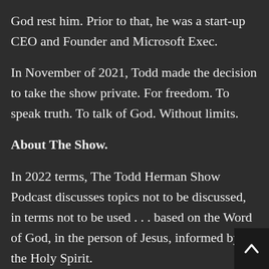God rest him. Prior to that, he was a start-up CEO and Founder and Microsoft Exec.
In November of 2021, Todd made the decision to take the show private. For freedom. To speak truth. To talk of God. Without limits.
About The Show.
In 2022 terms, The Todd Herman Show Podcast discusses topics not to be discussed, in terms not to be used . . . based on the Word of God, in the person of Jesus, informed by the Holy Spirit.